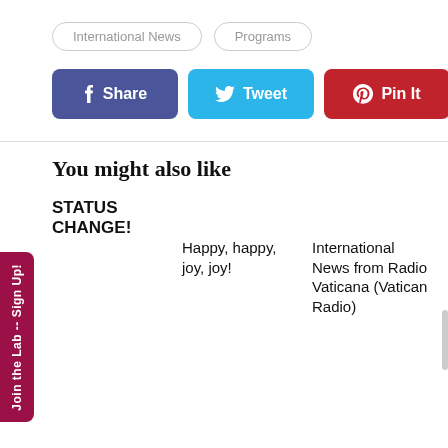International News
Programs
f Share
Tweet
Pin It
You might also like
STATUS CHANGE!
Happy, happy, joy, joy!
International News from Radio Vaticana (Vatican Radio)
Join the Lab -- Sign Up!